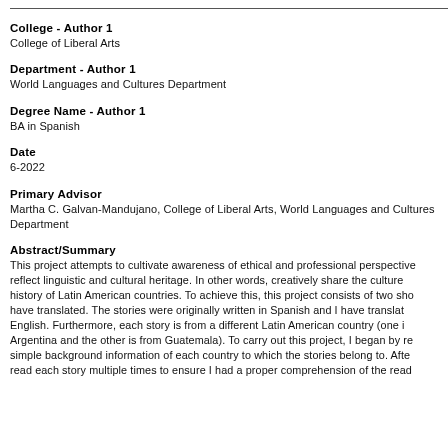College - Author 1
College of Liberal Arts
Department - Author 1
World Languages and Cultures Department
Degree Name - Author 1
BA in Spanish
Date
6-2022
Primary Advisor
Martha C. Galvan-Mandujano, College of Liberal Arts, World Languages and Cultures Department
Abstract/Summary
This project attempts to cultivate awareness of ethical and professional perspectives that reflect linguistic and cultural heritage. In other words, creatively share the culture and history of Latin American countries. To achieve this, this project consists of two short stories I have translated. The stories were originally written in Spanish and I have translated them into English. Furthermore, each story is from a different Latin American country (one is from Argentina and the other is from Guatemala). To carry out this project, I began by researching simple background information of each country to which the stories belong to. After, I read each story multiple times to ensure I had a proper comprehension of the reader.